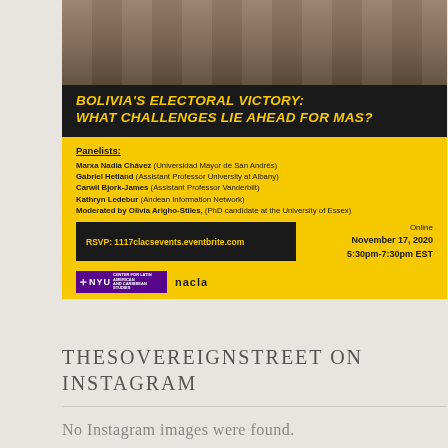[Figure (infographic): Event flyer for 'Bolivia's Electoral Victory: What Challenges Lie Ahead for MAS?' with a photo of hands holding ballots at the top, black section with yellow italic title text, yellow section listing panelists (Marxa Nadia Chávez, Gabriel Hetland, Carwil Bjork-James, Kathryn Ledebur, Moderated by Olivia Arigho-Stiles), RSVP box with 1117clacsevents.eventbrite.com, event date Online November 17, 2020 5:30pm-7:30pm EST, and NYU and nacla logos at bottom.]
THESOVEREIGNSTREET ON INSTAGRAM
No Instagram images were found.